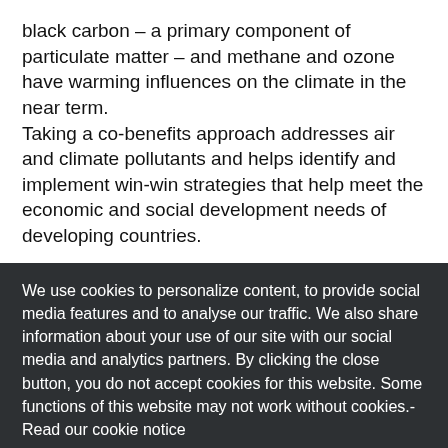black carbon – a primary component of particulate matter – and methane and ozone have warming influences on the climate in the near term.
Taking a co-benefits approach addresses air and climate pollutants and helps identify and implement win-win strategies that help meet the economic and social development needs of developing countries.
We use cookies to personalize content, to provide social media features and to analyse our traffic. We also share information about your use of our site with our social media and analytics partners. By clicking the close button, you do not accept cookies for this website. Some functions of this website may not work without cookies.- Read our cookie notice